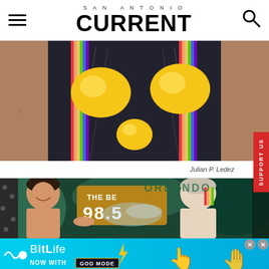SAN ANTONIO CURRENT
[Figure (photo): Close-up photo of a person wearing a dark vest with rainbow suspenders and two large yellow lemon-shaped accessories on their chest]
Julian P. Ledez
[Figure (photo): Photo of two people at an outdoor event, one shirtless man smiling with hand outstretched and another person with shaved head with water spray. A sign reads THE BE 98.5 in the background with green foliage and an Orlando heart sign.]
[Figure (infographic): BitLife advertisement banner: NOW WITH GOD MODE on light blue background with a lightning bolt graphic and pointing hand emoji]